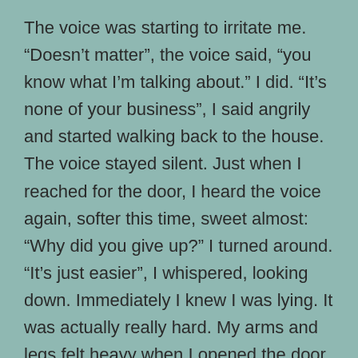The voice was starting to irritate me. “Doesn’t matter”, the voice said, “you know what I’m talking about.” I did. “It’s none of your business”, I said angrily and started walking back to the house. The voice stayed silent. Just when I reached for the door, I heard the voice again, softer this time, sweet almost: “Why did you give up?” I turned around. “It’s just easier”, I whispered, looking down. Immediately I knew I was lying. It was actually really hard. My arms and legs felt heavy when I opened the door to my grandparents house. I decided to at least skip dessert tonight.